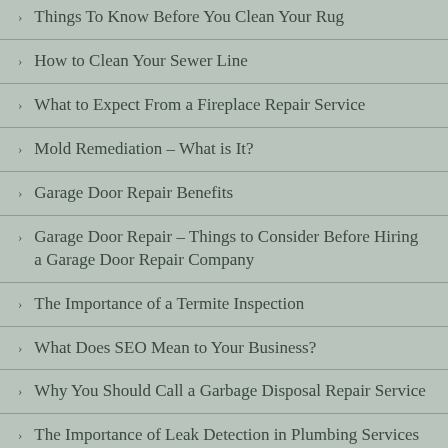Things To Know Before You Clean Your Rug
How to Clean Your Sewer Line
What to Expect From a Fireplace Repair Service
Mold Remediation – What is It?
Garage Door Repair Benefits
Garage Door Repair – Things to Consider Before Hiring a Garage Door Repair Company
The Importance of a Termite Inspection
What Does SEO Mean to Your Business?
Why You Should Call a Garbage Disposal Repair Service
The Importance of Leak Detection in Plumbing Services